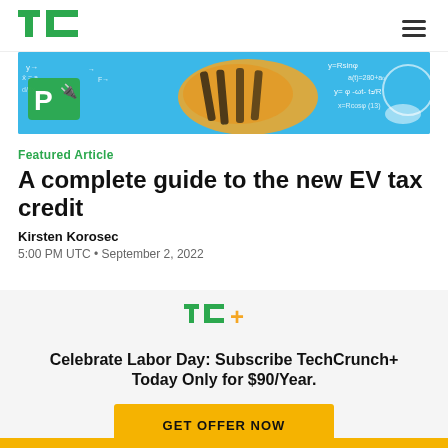TechCrunch
[Figure (illustration): TechCrunch article banner image with blue background, math equations, orange illustration of hands, and a white 'P' with plug icon]
Featured Article
A complete guide to the new EV tax credit
Kirsten Korosec
5:00 PM UTC • September 2, 2022
[Figure (logo): TC+ logo in green and orange]
Celebrate Labor Day: Subscribe TechCrunch+ Today Only for $90/Year.
GET OFFER NOW